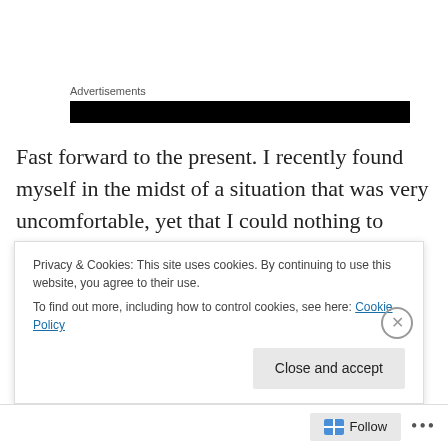Advertisements
[Figure (other): Black advertisement banner block]
Fast forward to the present. I recently found myself in the midst of a situation that was very uncomfortable, yet that I could nothing to change. Like all the other times in my life going back to when I was a small child and this was the case, it felt very similar. So in addition I had to deal with these echoes from the past as well as the experience of
Privacy & Cookies: This site uses cookies. By continuing to use this website, you agree to their use.
To find out more, including how to control cookies, see here: Cookie Policy
Close and accept
Follow